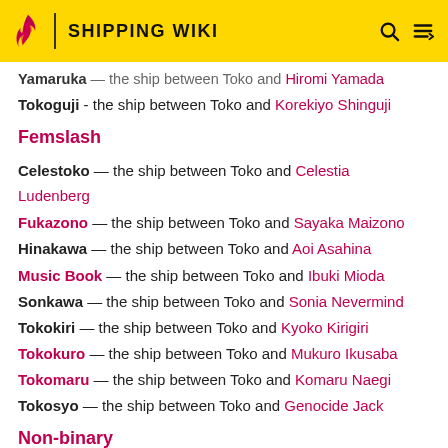SHIPPING WIKI
Yamaruka — the ship between Toko and Hiromi Yamada
Tokoguji - the ship between Toko and Korekiyo Shinguji
Femslash
Celestoko — the ship between Toko and Celestia Ludenberg
Fukazono — the ship between Toko and Sayaka Maizono
Hinakawa — the ship between Toko and Aoi Asahina
Music Book — the ship between Toko and Ibuki Mioda
Sonkawa — the ship between Toko and Sonia Nevermind
Tokokiri — the ship between Toko and Kyoko Kirigiri
Tokokuro — the ship between Toko and Mukuro Ikusaba
Tokomaru — the ship between Toko and Komaru Naegi
Tokosyo — the ship between Toko and Genocide Jack
Non-binary